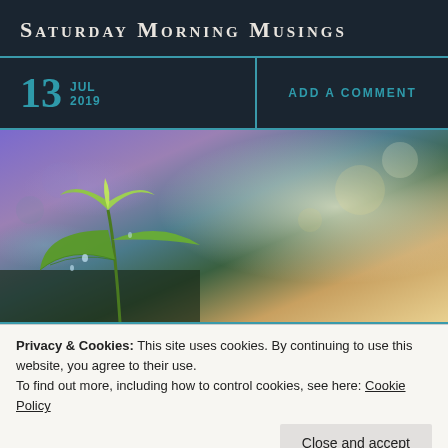Saturday Morning Musings
13 JUL 2019
ADD A COMMENT
[Figure (photo): A green plant seedling with fresh leaves against a soft, bokeh-blurred background of purples, greens, and warm golden light]
Privacy & Cookies: This site uses cookies. By continuing to use this website, you agree to their use.
To find out more, including how to control cookies, see here: Cookie Policy
Close and accept
Proverbs 13:20 "He that walketh with wise men shall be wise; but